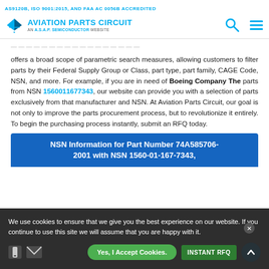AS9120B, ISO 9001:2015, AND FAA AC 0056B ACCREDITED
[Figure (logo): Aviation Parts Circuit logo - an ASAP Semiconductor website, with blue star/arrow icon]
offers a broad scope of parametric search measures, allowing customers to filter parts by their Federal Supply Group or Class, part type, part family, CAGE Code, NSN, and more. For example, if you are in need of Boeing Company The parts from NSN 1560011677343, our website can provide you with a selection of parts exclusively from that manufacturer and NSN. At Aviation Parts Circuit, our goal is not only to improve the parts procurement process, but to revolutionize it entirely. To begin the purchasing process instantly, submit an RFQ today.
NSN Information for Part Number 74A585706-2001 with NSN 1560-01-167-7343,
We use cookies to ensure that we give you the best experience on our website. If you continue to use this site we will assume that you are happy with it.